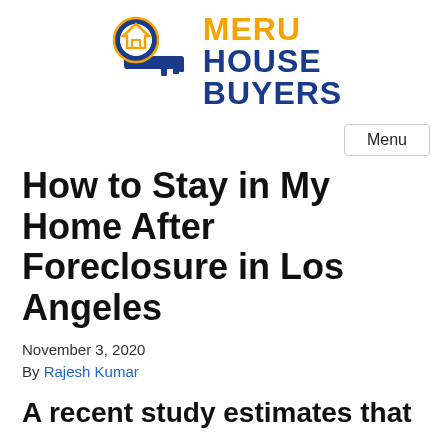[Figure (logo): Meru House Buyers logo — a blue key with a house icon, beside yellow/blue stacked text reading MERU HOUSE BUYERS]
Menu
How to Stay in My Home After Foreclosure in Los Angeles
November 3, 2020
By Rajesh Kumar
A recent study estimates that